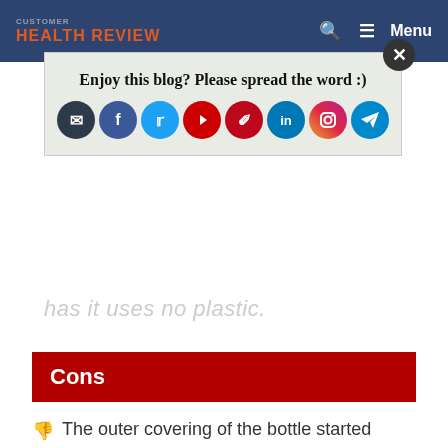HEALTH REVIEW
[Figure (screenshot): Social sharing popup with icons for email, Facebook, Twitter, YouTube, Pinterest, LinkedIn, Instagram, and Telegram. Text reads: Enjoy this blog? Please spread the word :)]
has it uses no plastic.
Cons
The outer covering of the bottle started peeling off after for a while
Dubblin Dream Premium